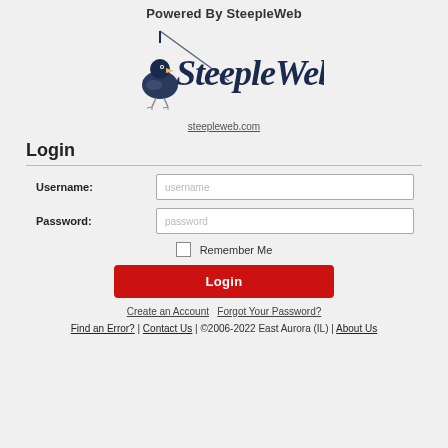Powered By SteepleWeb
[Figure (logo): SteepleWeb logo with stylized bird and cursive text]
steepleweb.com
Login
Username: [input field] Password: [input field] Remember Me [checkbox] Login [button]
Create an Account   Forgot Your Password?
Find an Error? | Contact Us | ©2006-2022 East Aurora (IL) | About Us